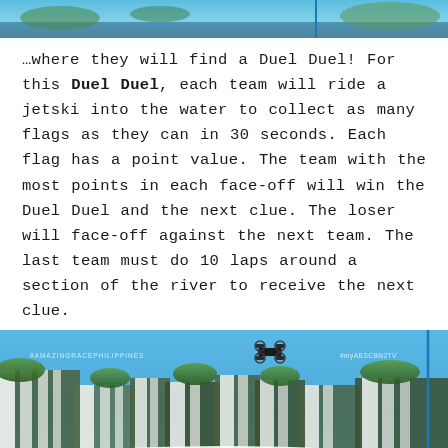[Figure (photo): Top partial image showing water/river scene with blue sky and green vegetation]
…where they will find a Duel Duel! For this Duel Duel, each team will ride a jetski into the water to collect as many flags as they can in 30 seconds. Each flag has a point value. The team with the most points in each face-off will win the Duel Duel and the next clue. The loser will face-off against the next team. The last team must do 10 laps around a section of the river to receive the next clue.
[Figure (photo): Scenic waterfall landscape (likely Iguazu Falls) with blue sky and a drone flying overhead, with #AmazingRacePhilippines watermark]